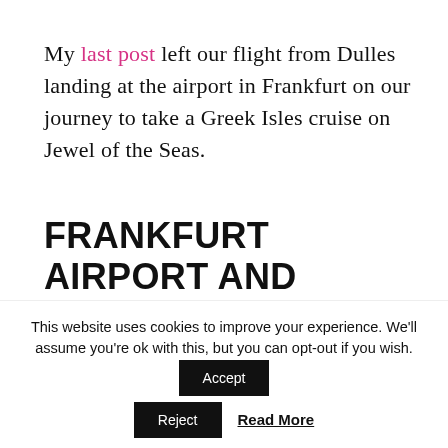My last post left our flight from Dulles landing at the airport in Frankfurt on our journey to take a Greek Isles cruise on Jewel of the Seas.
FRANKFURT AIRPORT AND LUNCH
We were close to the front of the plane so got off quickly. I was surprised to see that we had minimal
This website uses cookies to improve your experience. We'll assume you're ok with this, but you can opt-out if you wish.